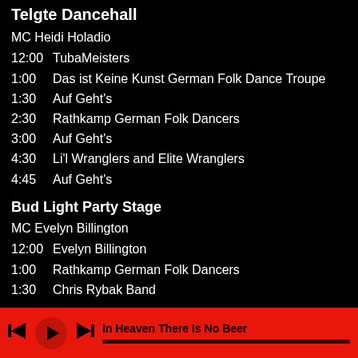Telgte Dancehall
MC Heidi Holadio
12:00  TubaMeisters
1:00   Das ist Keine Kunst German Folk Dance Troupe
1:30   Auf Geht's
2:30   Rathkamp German Folk Dancers
3:00   Auf Geht's
4:30   Li'l Wranglers and Elite Wranglers
4:45   Auf Geht's
Bud Light Party Stage
MC Evelyn Billington
12:00  Evelyn Billington
1:00   Rathkamp German Folk Dancers
1:30   Chris Rybak Band
In Heaven There Is No Beer